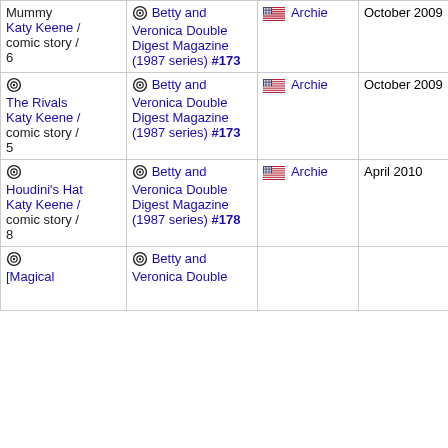| Title / Type | Publication | Publisher | Date |  |
| --- | --- | --- | --- | --- |
| Mummy
Katy Keene / comic story / 6 | Betty and Veronica Double Digest Magazine (1987 series) #173 | Archie | October 2009 | — |
| The Rivals
Katy Keene / comic story / 5 | Betty and Veronica Double Digest Magazine (1987 series) #173 | Archie | October 2009 | — |
| Houdini's Hat
Katy Keene / comic story / 8 | Betty and Veronica Double Digest Magazine (1987 series) #178 | Archie | April 2010 | — |
| [Magical
... | Betty and Veronica Double Digest... |  |  |  |